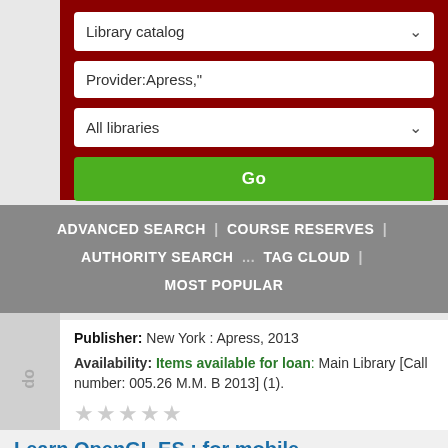[Figure (screenshot): Library catalog search interface with dark red background containing dropdown for 'Library catalog', text input with 'Provider:Apress,"', dropdown for 'All libraries', and a green 'Go' button]
ADVANCED SEARCH | COURSE RESERVES | AUTHORITY SEARCH ... TAG CLOUD | MOST POPULAR
Publisher: New York : Apress, 2013
Availability: Items available for loan: Main Library [Call number: 005.26 M.M. B 2013] (1).
★★★★★ (star rating, all empty)
Request article
Add to your cart
Open Library:
Learn OpenGL ES : for mobile